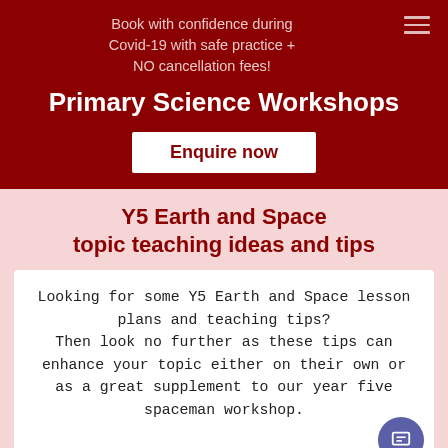Book with confidence during Covid-19 with safe practice + NO cancellation fees!
Primary Science Workshops
Enquire now
Y5 Earth and Space topic teaching ideas and tips
Looking for some Y5 Earth and Space lesson plans and teaching tips? Then look no further as these tips can enhance your topic either on their own or as a great supplement to our year five spaceman workshop.
[Figure (photo): Partial image visible at bottom of page]